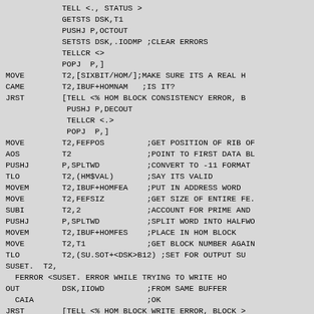Assembly language source code listing showing disk I/O and HOM block operations including TELL, GETSTS, PUSHJ, SETSTS, TELLCR, POPJ, MOVE, CAME, JRST, AOS, TLO, MOVEM, SUBI, SUSET, FERROR, OUT, CAIA instructions